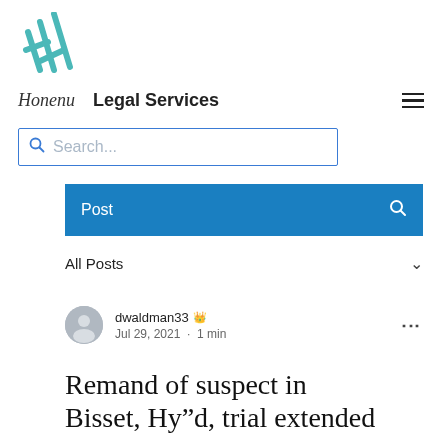[Figure (logo): Teal/cyan stylized checkmark/tick logo mark]
Honenu   Legal Services
Search...
Post
All Posts
dwaldman33 👑
Jul 29, 2021 · 1 min
Remand of suspect in Bisset, Hy"d, trial extended